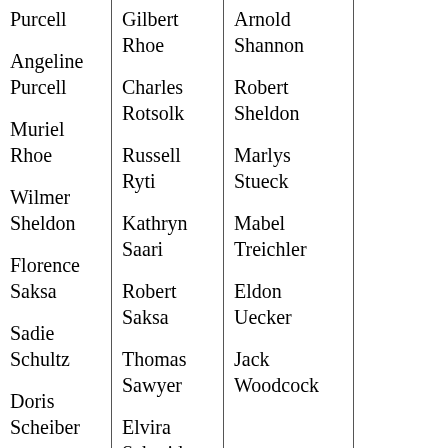Purcell
Angeline Purcell
Muriel Rhoe
Wilmer Sheldon
Florence Saksa
Sadie Schultz
Doris Scheiber
Marian Sjolin
Lester Smith
Gilbert Rhoe
Charles Rotsolk
Russell Ryti
Kathryn Saari
Robert Saksa
Thomas Sawyer
Elvira Schmidt
Annie Schultz
Joyce ...
Arnold Shannon
Robert Sheldon
Marlys Stueck
Mabel Treichler
Eldon Uecker
Jack Woodcock